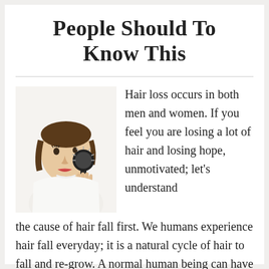People Should To Know This
[Figure (photo): Woman brushing her hair with a round brush, white background]
Hair loss occurs in both men and women. If you feel you are losing a lot of hair and losing hope, unmotivated; let's understand the cause of hair fall first. We humans experience hair fall everyday; it is a natural cycle of hair to fall and re-grow. A normal human being can have about 100,000 hairs growing on the